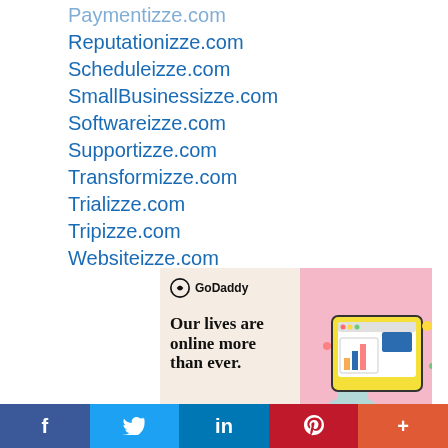Paymentizze.com
Reputationizze.com
Scheduleizze.com
SmallBusinessizze.com
Softwareizze.com
Supportizze.com
Transformizze.com
Trializze.com
Tripizze.com
Websiteizze.com
[Figure (illustration): GoDaddy advertisement with text 'Our lives are online more than ever.' on a cream background, with an illustration of a hand holding a website screen on a pink background.]
f  Twitter  in  Pinterest  +